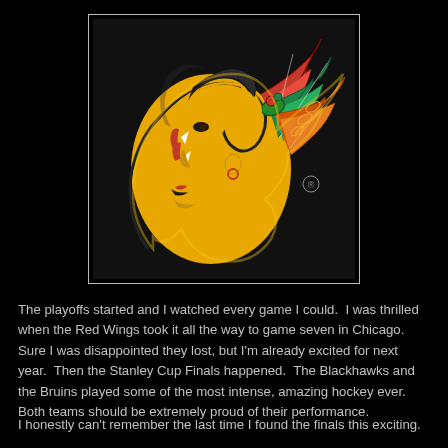[Figure (logo): Chicago Blackhawks NHL team logo: Native American chief head in profile facing left, wearing a headdress with red, green, and orange feathers. Black background with yellow border outline.]
The playoffs started and I watched every game I could.  I was thrilled when the Red Wings took it all the way to game seven in Chicago.  Sure I was disappointed they lost, but I'm already excited for next year.  Then the Stanley Cup Finals happened.  The Blackhawks and the Bruins played some of the most intense, amazing hockey ever.  Both teams should be extremely proud of their performance.
I honestly can't remember the last time I found the finals this exciting.